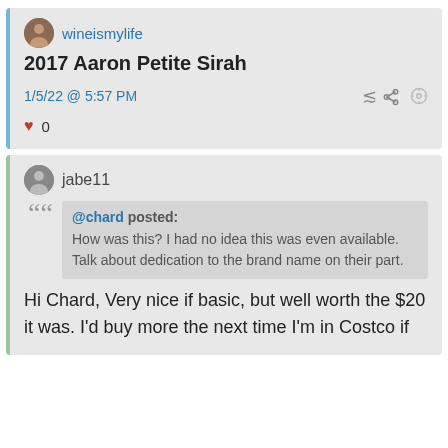wineismylife
2017 Aaron Petite Sirah
1/5/22 @ 5:57 PM
♥ 0
jabe11
@chard posted:
How was this? I had no idea this was even available. Talk about dedication to the brand name on their part.
Hi Chard, Very nice if basic, but well worth the $20 it was.  I'd buy more the next time I'm in Costco if